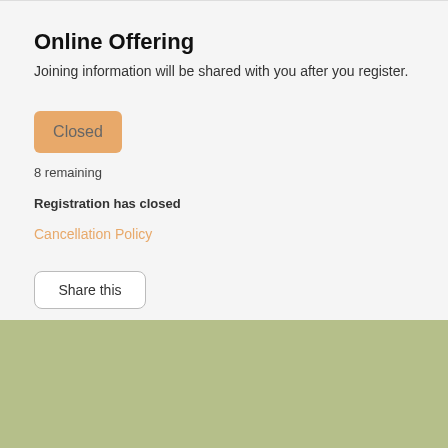Online Offering
Joining information will be shared with you after you register.
Closed
8 remaining
Registration has closed
Cancellation Policy
Share this
CONTACT US
Name